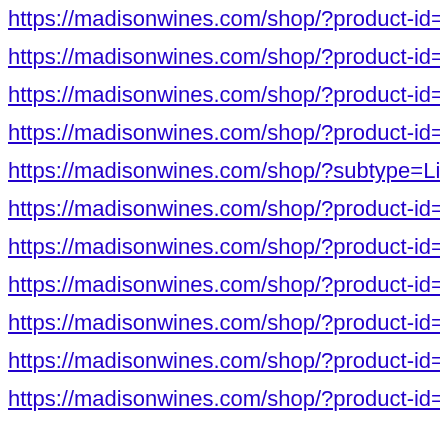https://madisonwines.com/shop/?product-id=5f419b83c…
https://madisonwines.com/shop/?product-id=60cbe2667…
https://madisonwines.com/shop/?product-id=5dc34026d…
https://madisonwines.com/shop/?product-id=601ddd88e…
https://madisonwines.com/shop/?subtype=Liqueur
https://madisonwines.com/shop/?product-id=6192a9d86…
https://madisonwines.com/shop/?product-id=61d328a46…
https://madisonwines.com/shop/?product-id=5efcbb8dd…
https://madisonwines.com/shop/?product-id=5967194d1…
https://madisonwines.com/shop/?product-id=5e3af17c2d…
https://madisonwines.com/shop/?product-id=5741dbb56…